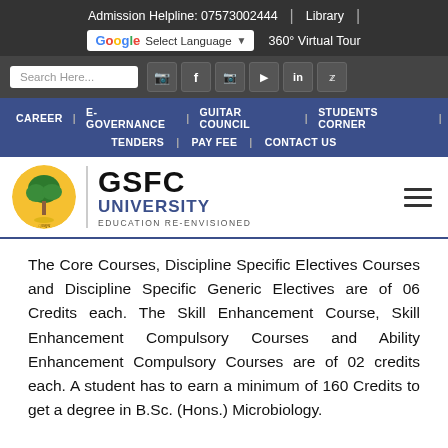Admission Helpline: 07573002444 | Library | Select Language | 360° Virtual Tour
Search Here... [social icons: WhatsApp, Facebook, Instagram, YouTube, LinkedIn, Twitter]
CAREER | E-GOVERNANCE | GUITAR COUNCIL | STUDENTS CORNER | TENDERS | PAY FEE | CONTACT US
[Figure (logo): GSFC University logo with tree emblem, text GSFC UNIVERSITY EDUCATION RE-ENVISIONED]
The Core Courses, Discipline Specific Electives Courses and Discipline Specific Generic Electives are of 06 Credits each. The Skill Enhancement Course, Skill Enhancement Compulsory Courses and Ability Enhancement Compulsory Courses are of 02 credits each. A student has to earn a minimum of 160 Credits to get a degree in B.Sc. (Hons.) Microbiology.